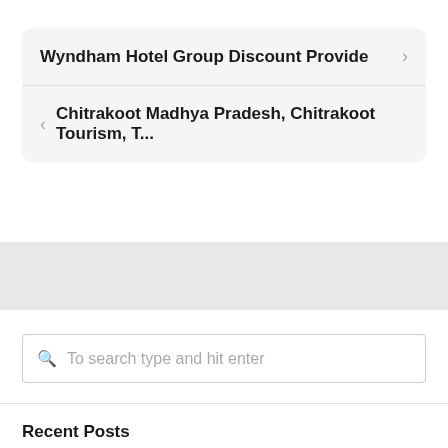Wyndham Hotel Group Discount Provide
Chitrakoot Madhya Pradesh, Chitrakoot Tourism, T...
To search type and hit enter
Recent Posts
Harvest Journey And Leisure Index Etf